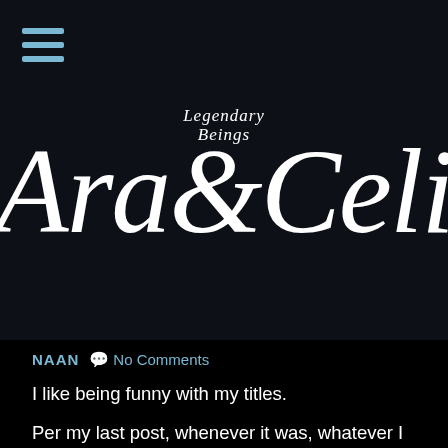[Figure (logo): Legendary Beings Araceli script logo on dark background with hamburger menu icon]
NAAN   💬 No Comments
I like being funny with my titles.
Per my last post, whenever it was, whatever I said — I don't even remember and I could look back to see what I said, but I'm really tired (physically) to the nth degree and really, what changed? Nada,